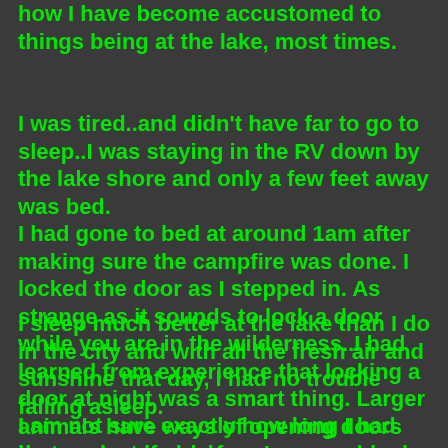how I have become accustomed to things being at the lake, most times.
I was tired..and didn't have far to go to sleep..I was staying in the RV down by the lake shore and only a few feet away was bed.
I had gone to bed at around 1am after making sure the campfire was done. I locked the door as I stepped in. As strange as it sounds to lock a door while you are in the wilderness..I had learned from experience that locking a door at night was a smart thing. Larger animals have ways of opening doors that are not locked.
I sleep much better at the lake than I do in the city and with all the fresh air and sunshine that day, I had no trouble falling asleep.
I am not sure exactly how long I had been asleep for, before I was suddenly awakened to noises...